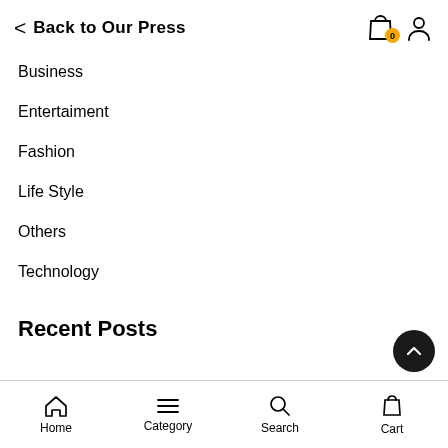Back to Our Press
Business
Entertaiment
Fashion
Life Style
Others
Technology
Recent Posts
Home   Category   Search   Cart